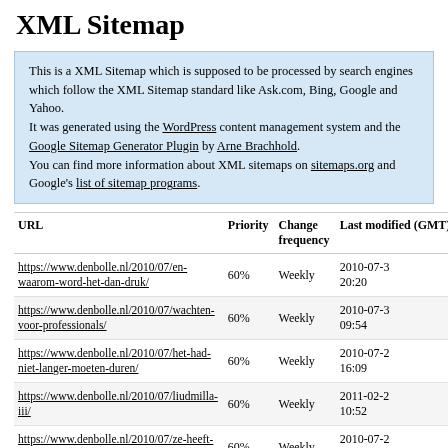XML Sitemap
This is a XML Sitemap which is supposed to be processed by search engines which follow the XML Sitemap standard like Ask.com, Bing, Google and Yahoo.
It was generated using the WordPress content management system and the Google Sitemap Generator Plugin by Arne Brachhold.
You can find more information about XML sitemaps on sitemaps.org and Google's list of sitemap programs.
| URL | Priority | Change frequency | Last modified (GMT) |
| --- | --- | --- | --- |
| https://www.denbolle.nl/2010/07/en-waarom-word-het-dan-druk/ | 60% | Weekly | 2010-07-3 20:20 |
| https://www.denbolle.nl/2010/07/wachten-voor-professionals/ | 60% | Weekly | 2010-07-3 09:54 |
| https://www.denbolle.nl/2010/07/het-had-niet-langer-moeten-duren/ | 60% | Weekly | 2010-07-2 16:09 |
| https://www.denbolle.nl/2010/07/liudmilla-iii/ | 60% | Weekly | 2011-02-2 10:52 |
| https://www.denbolle.nl/2010/07/ze-heeft-een-naam/ | 60% | Weekly | 2010-07-2 16:55 |